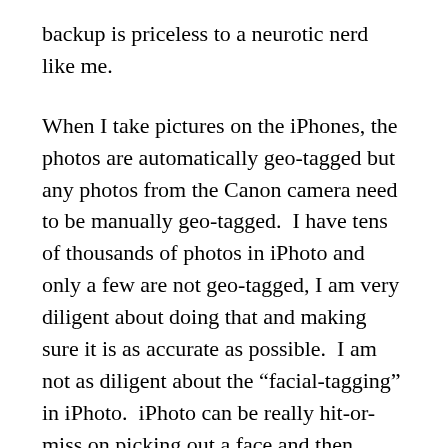backup is priceless to a neurotic nerd like me.
When I take pictures on the iPhones, the photos are automatically geo-tagged but any photos from the Canon camera need to be manually geo-tagged.  I have tens of thousands of photos in iPhoto and only a few are not geo-tagged, I am very diligent about doing that and making sure it is as accurate as possible.  I am not as diligent about the “facial-tagging” in iPhoto.  iPhoto can be really hit-or-miss on picking out a face and then knowing which person it is.  I know that small sample size isn’t an issue, it has thousands of pictures of the people in my immediate family.  Google Photos is almost perfect at picking out faces and